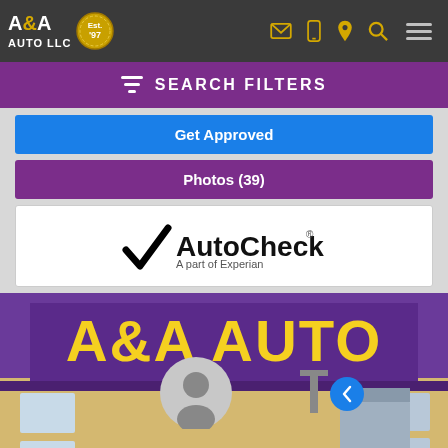[Figure (screenshot): A&A Auto LLC website screenshot showing navigation bar with logo, search filters bar, Get Approved button, Photos (39) button, AutoCheck logo, and dealer storefront photo with chat widget.]
A&A AUTO LLC
SEARCH FILTERS
Get Approved
Photos (39)
[Figure (logo): AutoCheck - A part of Experian logo]
[Figure (photo): A&A Auto dealer storefront building with large yellow A&A AUTO sign on purple background]
TEXT US WE ARE HERE TO HELP